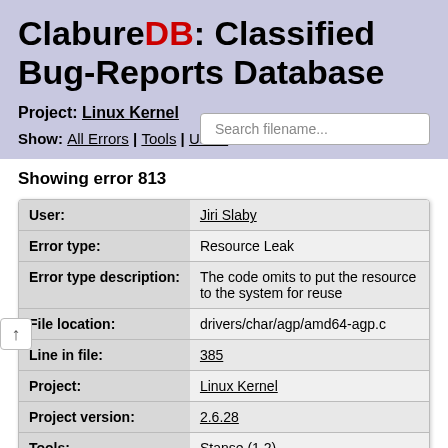ClabureDB: Classified Bug-Reports Database
Project: Linux Kernel
Show: All Errors | Tools | Users
Showing error 813
| Field | Value |
| --- | --- |
| User: | Jiri Slaby |
| Error type: | Resource Leak |
| Error type description: | The code omits to put the resource to the system for reuse |
| File location: | drivers/char/agp/amd64-agp.c |
| Line in file: | 385 |
| Project: | Linux Kernel |
| Project version: | 2.6.28 |
| Tools: | Stanse (1.2) |
| Entered: | 2011-11-07 22:40:13 UTC |